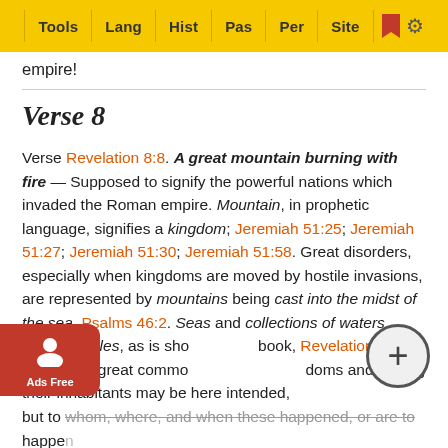Tools | Lang | Hist | Pas | Per | Site
empire!
Verse 8
Verse REVELATION 8:8. A great mountain burning with fire — Supposed to signify the powerful nations which invaded the Roman empire. Mountain, in prophetic language, signifies a kingdom; Jeremiah 51:25; Jeremiah 51:27; Jeremiah 51:30; Jeremiah 51:58. Great disorders, especially when kingdoms are moved by hostile invasions, are represented by mountains being cast into the midst of the sea, Psalms 46:2. Seas and collections of waters mean peoples, as is shown in this book, Revelation 17:15. Therefore, great commotions among kingdoms and among their inhabitants may be here intended, but to whom, where, and when these happened, or are to happen